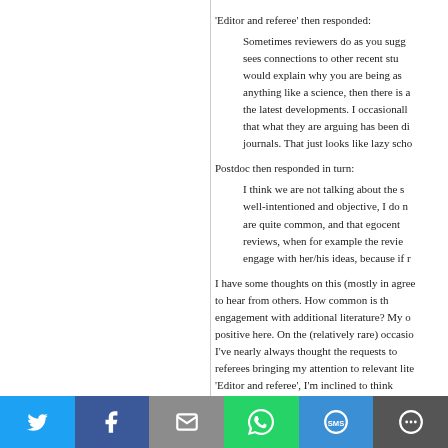'Editor and referee' then responded:
Sometimes reviewers do as you suggest sees connections to other recent stu would explain why you are being as anything like a science, then there is a the latest developments. I occasionall that what they are arguing has been di journals. That just looks like lazy scho
Postdoc then responded in turn:
I think we are not talking about the s well-intentioned and objective, I do n are quite common, and that egocent reviews, when for example the revie engage with her/his ideas, because if r
I have some thoughts on this (mostly in agree to hear from others. How common is th engagement with additional literature? My o positive here. On the (relatively rare) occasio I've nearly always thought the requests to referees bringing my attention to relevant lite 'Editor and referee', I'm inclined to think